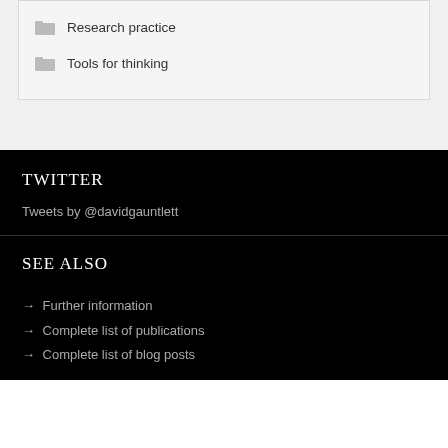Research practice
Tools for thinking
TWITTER
Tweets by @davidgauntlett
SEE ALSO
→ Further information
→ Complete list of publications
→ Complete list of blog posts